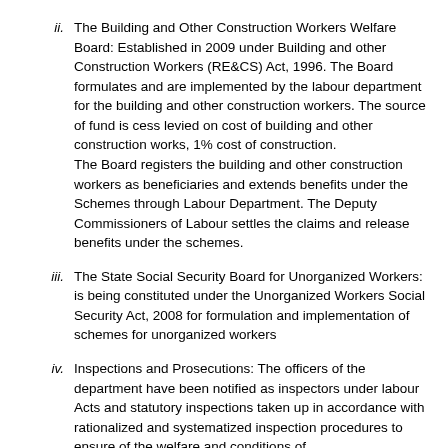ii. The Building and Other Construction Workers Welfare Board: Established in 2009 under Building and other Construction Workers (RE&CS) Act, 1996. The Board formulates and are implemented by the labour department for the building and other construction workers. The source of fund is cess levied on cost of building and other construction works, 1% cost of construction. The Board registers the building and other construction workers as beneficiaries and extends benefits under the Schemes through Labour Department. The Deputy Commissioners of Labour settles the claims and release benefits under the schemes.
iii. The State Social Security Board for Unorganized Workers: is being constituted under the Unorganized Workers Social Security Act, 2008 for formulation and implementation of schemes for unorganized workers
iv. Inspections and Prosecutions: The officers of the department have been notified as inspectors under labour Acts and statutory inspections taken up in accordance with rationalized and systematized inspection procedures to ensure of the welfare and conditions of